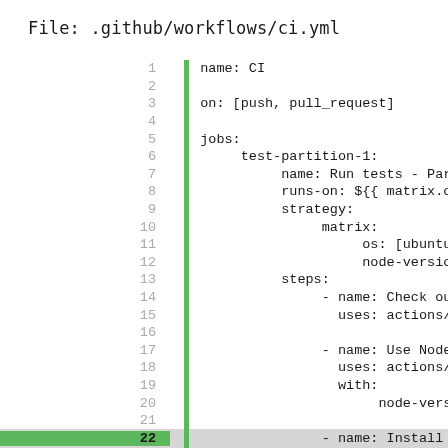File: .github/workflows/ci.yml
1  name: CI
2  
3  on: [push, pull_request]
4  
5  jobs:
6       test-partition-1:
7            name: Run tests - Partiti
8            runs-on: ${{ matrix.os }}
9            strategy:
10                matrix:
11                     os: [ubuntu-lates
12                     node-version: [12
13           steps:
14                - name: Check out a c
15                  uses: actions/check
16  
17                - name: Use Node.js $
18                  uses: actions/setup
19                  with:
20                       node-version: ${{
21  
22                - name: Install depen